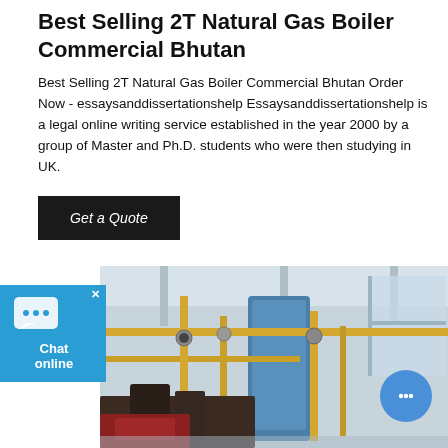Best Selling 2T Natural Gas Boiler Commercial Bhutan
Best Selling 2T Natural Gas Boiler Commercial Bhutan Order Now - essaysanddissertationshelp Essaysanddissertationshelp is a legal online writing service established in the year 2000 by a group of Master and Ph.D. students who were then studying in UK.
Get a Quote
[Figure (photo): Industrial natural gas boiler installation inside a commercial building, showing pipes, gauges and equipment in yellow and blue colors.]